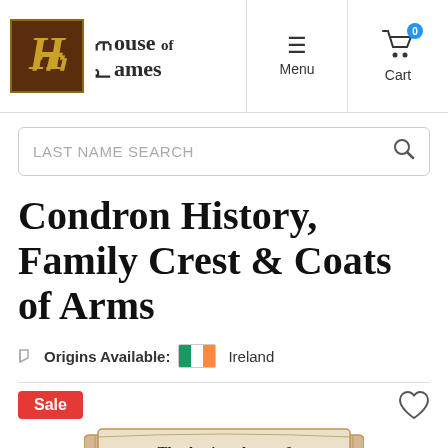House of Names — Menu | Cart
LAST NAME SEARCH
Condron History, Family Crest & Coats of Arms
Origins Available: Ireland
[Figure (illustration): Partial coat of arms product card showing 'The Ancient Arms of' on a scroll banner with decorative heraldic elements below, a red Sale badge top-left, and a heart/wishlist icon top-right]